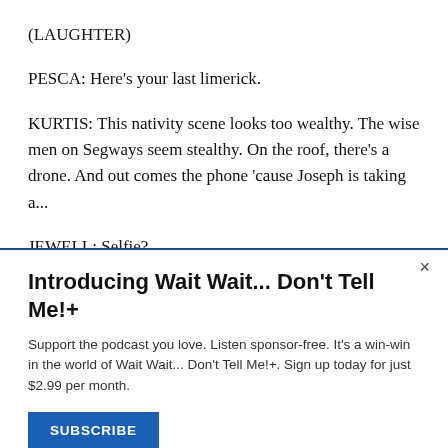(LAUGHTER)
PESCA: Here's your last limerick.
KURTIS: This nativity scene looks too wealthy. The wise men on Segways seem stealthy. On the roof, there's a drone. And out comes the phone 'cause Joseph is taking a...
JEWELL: Selfie?
Introducing Wait Wait... Don't Tell Me!+
Support the podcast you love. Listen sponsor-free. It's a win-win in the world of Wait Wait... Don't Tell Me!+. Sign up today for just $2.99 per month.
SUBSCRIBE